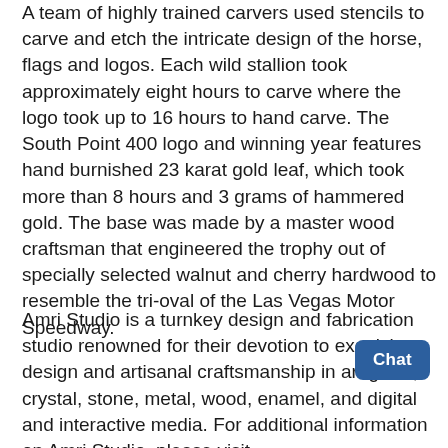A team of highly trained carvers used stencils to carve and etch the intricate design of the horse, flags and logos. Each wild stallion took approximately eight hours to carve where the logo took up to 16 hours to hand carve. The South Point 400 logo and winning year features hand burnished 23 karat gold leaf, which took more than 8 hours and 3 grams of hammered gold. The base was made by a master wood craftsman that engineered the trophy out of specially selected walnut and cherry hardwood to resemble the tri-oval of the Las Vegas Motor Speedway.
Amri Studio is a turnkey design and fabrication studio renowned for their devotion to exquisite design and artisanal craftsmanship in art glass, crystal, stone, metal, wood, enamel, and digital and interactive media. For additional information on Amri Studio, please visit http://www.amristudio.com.
On Sunday, Sept. 16, the South Point 400 will kick off the start of the 2018 Cup playoffs, marking the first time the starting event is being hosted in Las Vegas. Special race